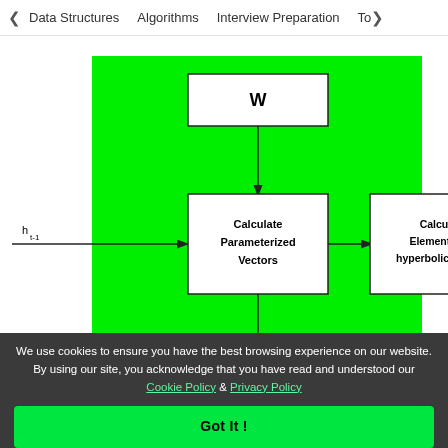< Data Structures   Algorithms   Interview Preparation   To>
[Figure (flowchart): Neural network RNN cell diagram on green background. A large green rectangle contains: a white box labeled 'W' at the top connected by a vertical arrow down to a white box labeled 'Calculate Parameterized Vectors'. An arrow from outside left labeled 'h_{t-1}' enters the 'Calculate Parameterized Vectors' box. An arrow from that box goes right to another white box labeled 'Calculate Element-wise hyperbolic tangent'. An arrow exits right from that box labeled 'h_t'. A vertical arrow goes down from 'Calculate Parameterized Vectors' out of the green box.]
We use cookies to ensure you have the best browsing experience on our website. By using our site, you acknowledge that you have read and understood our Cookie Policy & Privacy Policy
Got It !